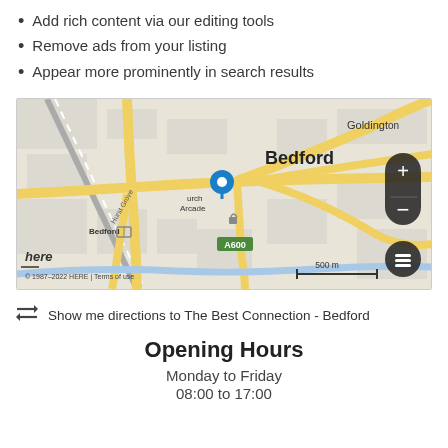Add rich content via our editing tools
Remove ads from your listing
Appear more prominently in search results
[Figure (map): HERE map showing Bedford town centre with a blue pin marker near Church Arcade, yellow roads, A600 road label, Goldingt(on) label, Bedford label, Here watermark, scale bar 500m, zoom controls, layers button, copyright 1987-2022 HERE | Terms of use]
Show me directions to The Best Connection - Bedford
Opening Hours
Monday to Friday
08:00 to 17:00